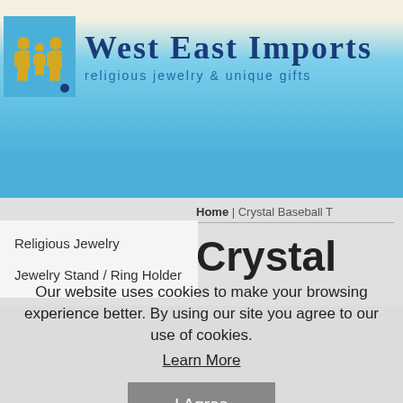[Figure (logo): West East Imports logo with family silhouette icon in blue and gold, company name in dark blue serif font, tagline 'religious jewelry & unique gifts']
Home | Crystal Baseball T
Crystal
Religious Jewelry
Jewelry Stand / Ring Holder
Our website uses cookies to make your browsing experience better. By using our site you agree to our use of cookies.
Learn More
I Agree